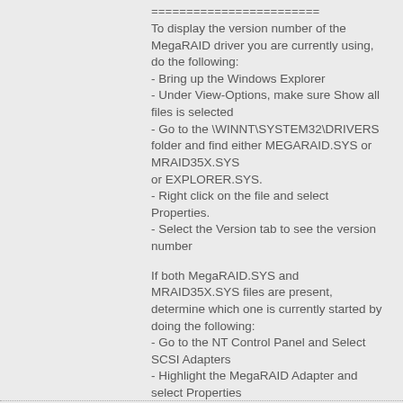========================
To display the version number of the MegaRAID driver you are currently using, do the following:
- Bring up the Windows Explorer
- Under View-Options, make sure Show all files is selected
- Go to the \WINNT\SYSTEM32\DRIVERS folder and find either MEGARAID.SYS or MRAID35X.SYS
or EXPLORER.SYS.
- Right click on the file and select Properties.
- Select the Version tab to see the version number
If both MegaRAID.SYS and MRAID35X.SYS files are present, determine which one is currently started by doing the following:
- Go to the NT Control Panel and Select SCSI Adapters
- Highlight the MegaRAID Adapter and select Properties
- The driver name is listed under the Driver tab